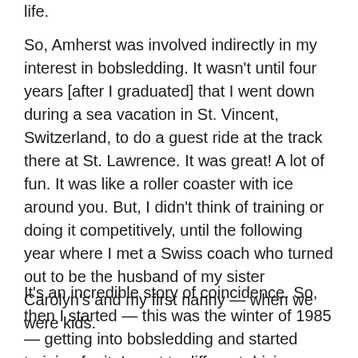life.
So, Amherst was involved indirectly in my interest in bobsledding. It wasn't until four years [after I graduated] that I went down during a sea vacation in St. Vincent, Switzerland, to do a guest ride at the track there at St. Lawrence. It was great! A lot of fun. It was like a roller coaster with ice around you. But, I didn't think of training or doing it competitively, until the following year where I met a Swiss coach who turned out to be the husband of my sister Carolyn's and my first nanny — when we were kids.
It's an incredible story of coincidence. So, then I started — this was the winter of 1985 — getting into bobsledding and started training for it. I went to different driving schools to learn how to drive